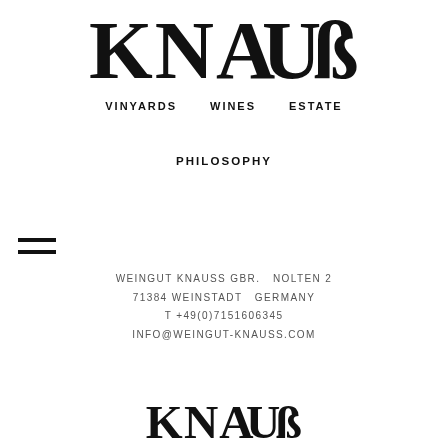[Figure (logo): Knauss logo in large serif bold text at top of page]
VINYARDS   WINES   ESTATE
PHILOSOPHY
[Figure (other): Hamburger menu icon (three horizontal lines) on left side]
WEINGUT KNAUSS GBR.   NOLTEN 2
71384 WEINSTADT   GERMANY
T +49(0)7151606345
INFO@WEINGUT-KNAUSS.COM
[Figure (logo): Knauss logo partial at bottom of page, same serif bold style]